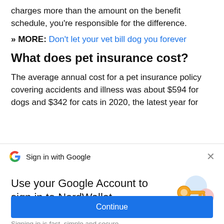charges more than the amount on the benefit schedule, you're responsible for the difference.
» MORE: Don't let your vet bill dog you forever
What does pet insurance cost?
The average annual cost for a pet insurance policy covering accidents and illness was about $594 for dogs and $342 for cats in 2020, the latest year for
Sign in with Google
Use your Google Account to sign in to NerdWallet
No more passwords to remember. Signing in is fast, simple and secure.
Continue